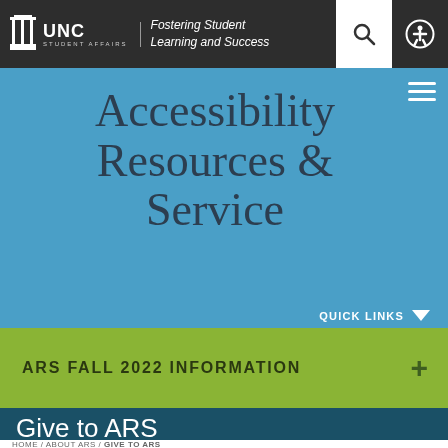UNC Student Affairs — Fostering Student Learning and Success
Accessibility Resources & Service
QUICK LINKS
ARS FALL 2022 INFORMATION
Give to ARS
HOME / ABOUT ARS / GIVE TO ARS